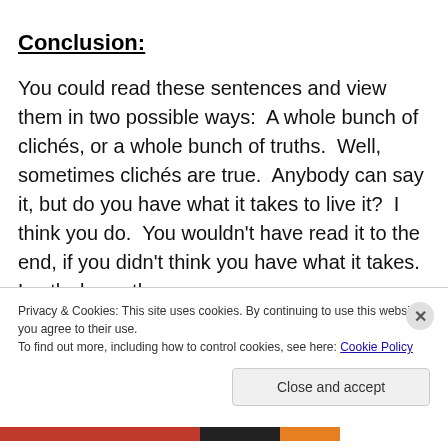Conclusion:
You could read these sentences and view them in two possible ways:  A whole bunch of clichés, or a whole bunch of truths.  Well, sometimes clichés are true.  Anybody can say it, but do you have what it takes to live it?  I think you do.  You wouldn't have read it to the end, if you didn't think you have what it takes.  Lastly, know there
Privacy & Cookies: This site uses cookies. By continuing to use this website, you agree to their use.
To find out more, including how to control cookies, see here: Cookie Policy
Close and accept